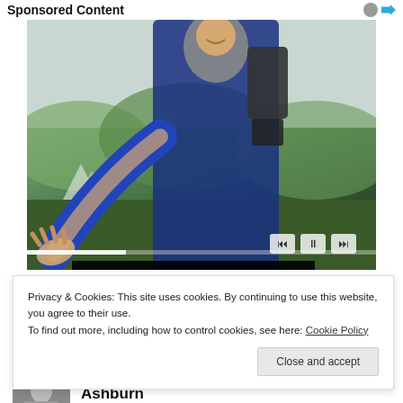Sponsored Content
[Figure (photo): Man with backpack reaching out his hand toward the viewer, smiling, with green hills in the background. Video player controls visible at bottom.]
Get Ready For More Personalized Recommendations Here
Privacy & Cookies: This site uses cookies. By continuing to use this website, you agree to their use.
To find out more, including how to control cookies, see here: Cookie Policy
Close and accept
Ashburn